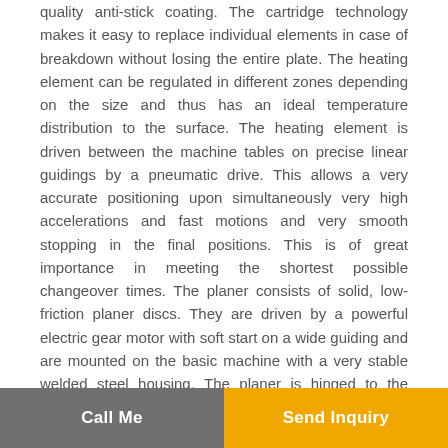quality anti-stick coating. The cartridge technology makes it easy to replace individual elements in case of breakdown without losing the entire plate. The heating element can be regulated in different zones depending on the size and thus has an ideal temperature distribution to the surface. The heating element is driven between the machine tables on precise linear guidings by a pneumatic drive. This allows a very accurate positioning upon simultaneously very high accelerations and fast motions and very smooth stopping in the final positions. This is of great importance in meeting the shortest possible changeover times. The planer consists of solid, low-friction planer discs. They are driven by a powerful electric gear motor with soft start on a wide guiding and are mounted on the basic machine with a very stable welded steel housing. The planer is hinged to the machine table
Call Me | Send Inquiry